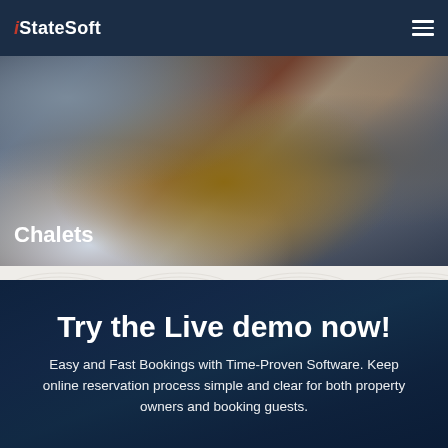iStateSoft
[Figure (photo): Exterior of a chalet building with wooden beams, stone walls, and snow-covered surroundings, with mountains in the background]
Chalets
[Figure (photo): Background photo of a poolside or resort scene used behind the demo CTA section]
Try the Live demo now!
Easy and Fast Bookings with Time-Proven Software. Keep online reservation process simple and clear for both property owners and booking guests.